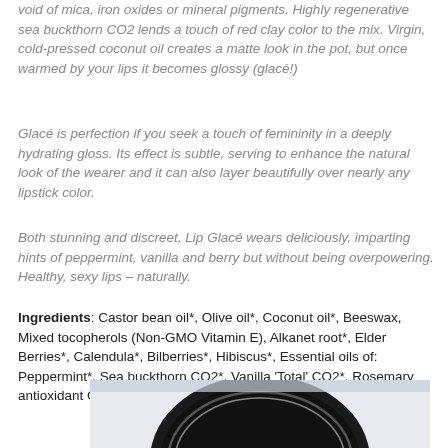void of mica, iron oxides or mineral pigments. Highly regenerative sea buckthorn CO2 lends a touch of red clay color to the mix. Virgin, cold-pressed coconut oil creates a matte look in the pot, but once warmed by your lips it becomes glossy (glacé!)
Glacé is perfection if you seek a touch of femininity in a deeply hydrating gloss. Its effect is subtle, serving to enhance the natural look of the wearer and it can also layer beautifully over nearly any lipstick color.
Both stunning and discreet, Lip Glacé wears deliciously, imparting hints of peppermint, vanilla and berry but without being overpowering. Healthy, sexy lips – naturally.
Ingredients: Castor bean oil*, Olive oil*, Coconut oil*, Beeswax, Mixed tocopherols (Non-GMO Vitamin E), Alkanet root*, Elder Berries*, Calendula*, Bilberries*, Hibiscus*, Essential oils of: Peppermint*, Sea buckthorn CO2*, Vanilla 'Total' CO2*, Rosemary antioxidant CO2*
[Figure (photo): A round tin/pot of lip glace product shown from above, partially cropped, with a dark lid and light purple/grey background]